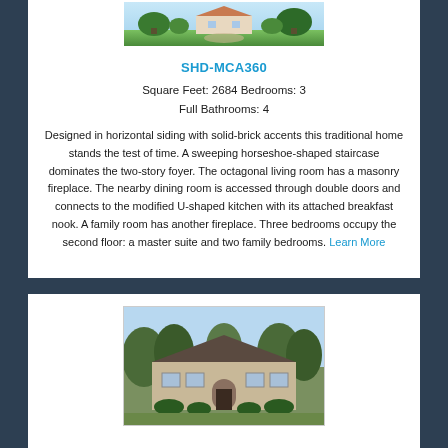[Figure (illustration): Illustrated aerial/landscape view of a house with green surroundings, top portion visible at the top of the first card]
SHD-MCA360
Square Feet: 2684 Bedrooms: 3
Full Bathrooms: 4
Designed in horizontal siding with solid-brick accents this traditional home stands the test of time. A sweeping horseshoe-shaped staircase dominates the two-story foyer. The octagonal living room has a masonry fireplace. The nearby dining room is accessed through double doors and connects to the modified U-shaped kitchen with its attached breakfast nook. A family room has another fireplace. Three bedrooms occupy the second floor: a master suite and two family bedrooms. Learn More
[Figure (photo): Photo of a single-story brick house with dark roof, arched entryway, surrounded by tall trees]